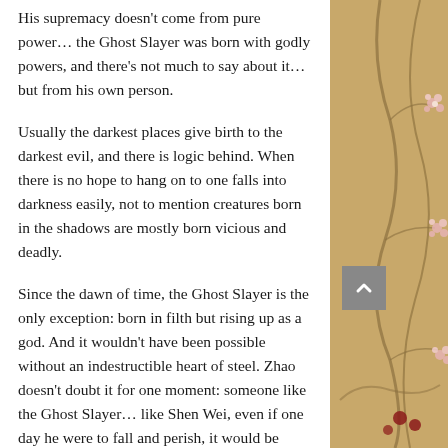His supremacy doesn't come from pure power… the Ghost Slayer was born with godly powers, and there's not much to say about it… but from his own person.
Usually the darkest places give birth to the darkest evil, and there is logic behind. When there is no hope to hang on to one falls into darkness easily, not to mention creatures born in the shadows are mostly born vicious and deadly.
Since the dawn of time, the Ghost Slayer is the only exception: born in filth but rising up as a god. And it wouldn't have been possible without an indestructible heart of steel. Zhao doesn't doubt it for one moment: someone like the Ghost Slayer… like Shen Wei, even if one day he were to fall and perish, it would be immensely noble and irreproachable.
As Shen opens the door, his usuallly good-looking